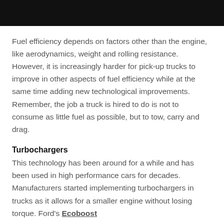[Figure (photo): Partial dark/black image bar at top of page, appears to be a vehicle or engine photo cropped]
Fuel efficiency depends on factors other than the engine, like aerodynamics, weight and rolling resistance. However, it is increasingly harder for pick-up trucks to improve in other aspects of fuel efficiency while at the same time adding new technological improvements. Remember, the job a truck is hired to do is not to consume as little fuel as possible, but to tow, carry and drag.
Turbochargers
This technology has been around for a while and has been used in high performance cars for decades. Manufacturers started implementing turbochargers in trucks as it allows for a smaller engine without losing torque. Ford's Ecoboost